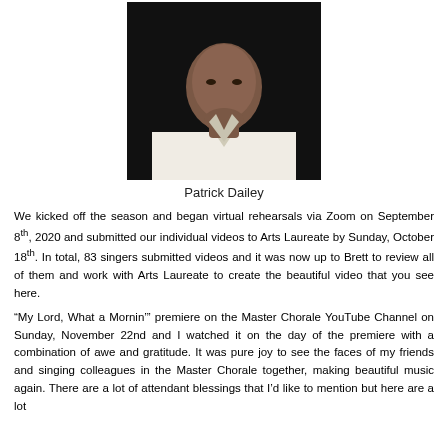[Figure (photo): Portrait photo of Patrick Dailey, a man in a white shirt against a dark background]
Patrick Dailey
We kicked off the season and began virtual rehearsals via Zoom on September 8th, 2020 and submitted our individual videos to Arts Laureate by Sunday, October 18th. In total, 83 singers submitted videos and it was now up to Brett to review all of them and work with Arts Laureate to create the beautiful video that you see here.
“My Lord, What a Mornin’” premiere on the Master Chorale YouTube Channel on Sunday, November 22nd and I watched it on the day of the premiere with a combination of awe and gratitude. It was pure joy to see the faces of my friends and singing colleagues in the Master Chorale together, making beautiful music again. There are a lot of attendant blessings that I’d like to mention but here are a lot